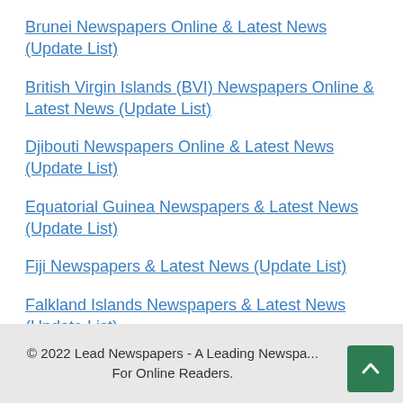Brunei Newspapers Online & Latest News (Update List)
British Virgin Islands (BVI) Newspapers Online & Latest News (Update List)
Djibouti Newspapers Online & Latest News (Update List)
Equatorial Guinea Newspapers & Latest News (Update List)
Fiji Newspapers & Latest News (Update List)
Falkland Islands Newspapers & Latest News (Update List)
© 2022 Lead Newspapers - A Leading Newspaper For Online Readers.